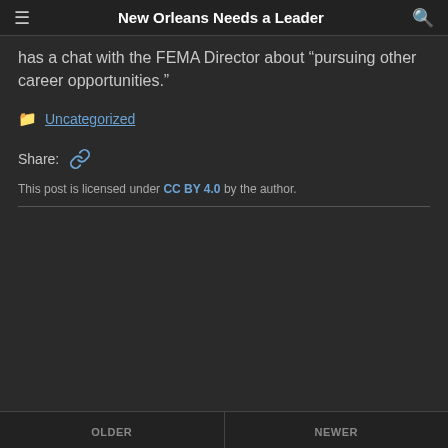New Orleans Needs a Leader
has a chat with the FEMA Director about “pursuing other career opportunities.”
Uncategorized
Share:
This post is licensed under CC BY 4.0 by the author.
OLDER | NEWER